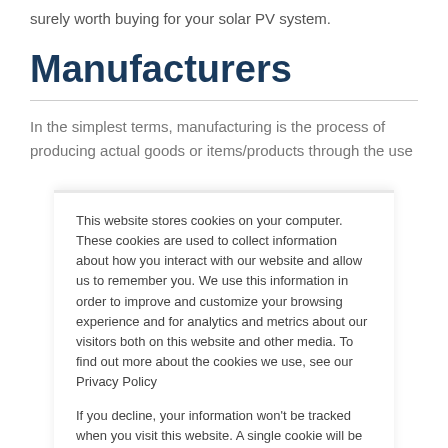surely worth buying for your solar PV system.
Manufacturers
In the simplest terms, manufacturing is the process of producing actual goods or items/products through the use
This website stores cookies on your computer. These cookies are used to collect information about how you interact with our website and allow us to remember you. We use this information in order to improve and customize your browsing experience and for analytics and metrics about our visitors both on this website and other media. To find out more about the cookies we use, see our Privacy Policy
If you decline, your information won't be tracked when you visit this website. A single cookie will be used in your browser to remember your preference not to be tracked.
Accept
Decline